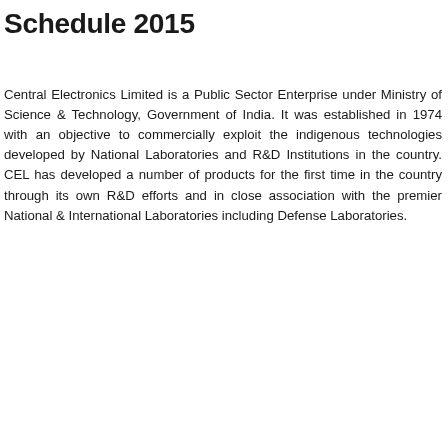Schedule 2015
Central Electronics Limited is a Public Sector Enterprise under Ministry of Science & Technology, Government of India. It was established in 1974 with an objective to commercially exploit the indigenous technologies developed by National Laboratories and R&D Institutions in the country. CEL has developed a number of products for the first time in the country through its own R&D efforts and in close association with the premier National & International Laboratories including Defense Laboratories.